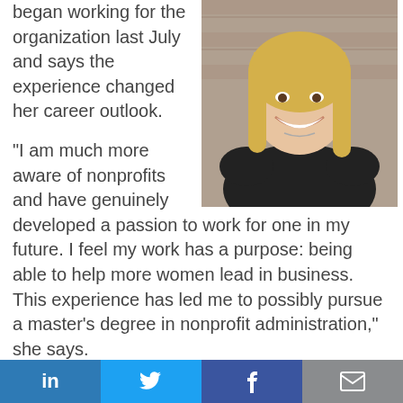began working for the organization last July and says the experience changed her career outlook.
[Figure (photo): Smiling young blonde woman wearing a black top, standing outdoors in front of a brick wall]
“I am much more aware of nonprofits and have genuinely developed a passion to work for one in my future. I feel my work has a purpose: being able to help more women lead in business. This experience has led me to possibly pursue a master’s degree in nonprofit administration,” she says.
Although a career involving data and analytics has long been a dream, Mackenzie says the Forté
LinkedIn | Twitter | Facebook | Email